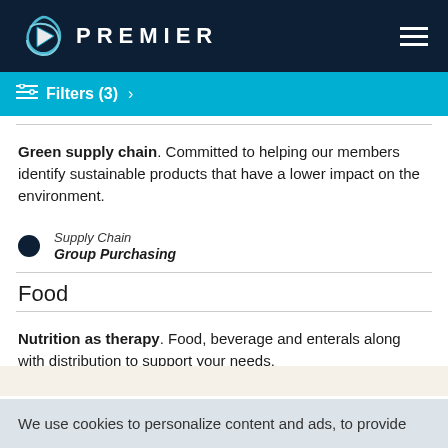PREMIER
Filters (3) >
Green supply chain. Committed to helping our members identify sustainable products that have a lower impact on the environment.
Supply Chain
Group Purchasing
Food
Nutrition as therapy. Food, beverage and enterals along with distribution to support your needs.
Supply Chain
Group Purchasing
We use cookies to personalize content and ads, to provide